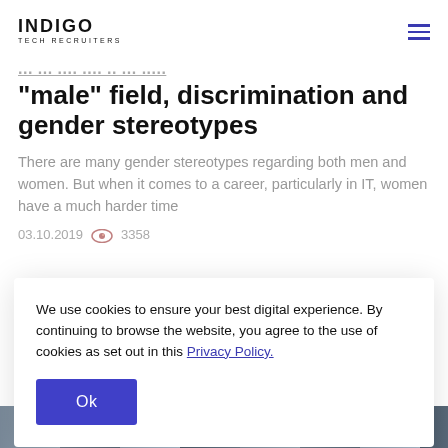INDIGO TECH RECRUITERS
"male" field, discrimination and gender stereotypes
There are many gender stereotypes regarding both men and women. But when it comes to a career, particularly in IT, women have a much harder time
03.10.2019  3358
We use cookies to ensure your best digital experience. By continuing to browse the website, you agree to the use of cookies as set out in this Privacy Policy.
[Figure (other): Partial photo strip at the bottom of the page showing people]